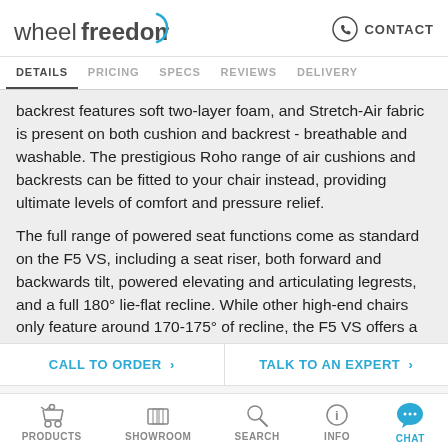wheelfreedom | CONTACT
DETAILS | PRICING | SPECS | REVIEWS | DELIVERY
backrest features soft two-layer foam, and Stretch-Air fabric is present on both cushion and backrest - breathable and washable. The prestigious Roho range of air cushions and backrests can be fitted to your chair instead, providing ultimate levels of comfort and pressure relief.

The full range of powered seat functions come as standard on the F5 VS, including a seat riser, both forward and backwards tilt, powered elevating and articulating legrests, and a full 180° lie-flat recline. While other high-end chairs only feature around 170-175° of recline, the F5 VS offers a true lie-flat function. The
CALL TO ORDER > | TALK TO AN EXPERT >
PRODUCTS | SHOWROOM | SEARCH | INFO | CHAT